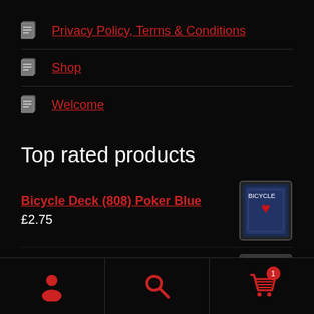Privacy Policy, Terms & Conditions
Shop
Welcome
Top rated products
Bicycle Deck (808) Poker Blue £2.75
Bicycle Stripper Deck